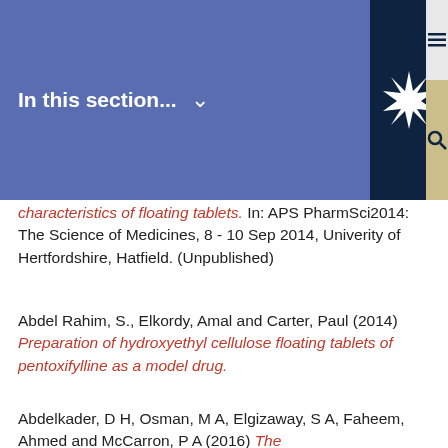In this section...
characteristics of floating tablets. In: APS PharmSci2014: The Science of Medicines, 8 - 10 Sep 2014, Univerity of Hertfordshire, Hatfield. (Unpublished)
Abdel Rahim, S., Elkordy, Amal and Carter, Paul (2014) Preparation of hydroxyethyl cellulose floating tablets of pentoxifylline as a model drug. In: APS PharmSci2014: The Science of Medicines, 8 - 10 Sep 2014, Univerity of Hertfordshire, Hatfield. (Unpublished)
Abdelkader, D H, Osman, M A, Elgizaway, S A, Faheem, Ahmed and McCarron, P A (2016) The